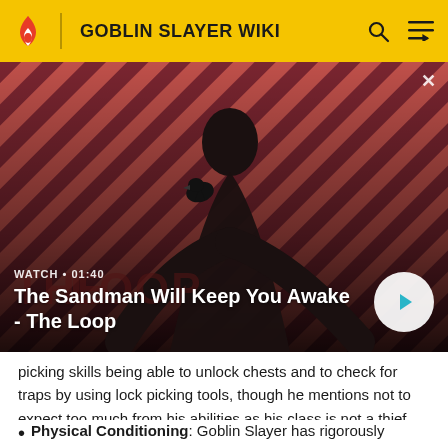GOBLIN SLAYER WIKI
[Figure (screenshot): Video thumbnail showing a dark-cloaked figure with a raven on shoulder against a red and black diagonal stripe background. Overlay text: WATCH · 01:40, The Sandman Will Keep You Awake - The Loop. Play button visible.]
picking skills being able to unlock chests and to check for traps by using lock picking tools, though he mentions not to expect too much from his abilities as his class is not a thief.
Physical Conditioning: Goblin Slayer has rigorously